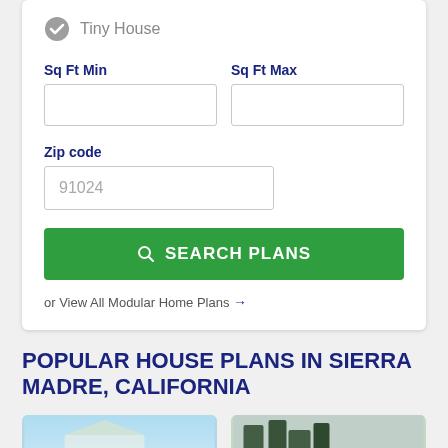[Figure (screenshot): Checked circle icon next to 'Tiny House' label in a form filter]
Tiny House
Sq Ft Min
Sq Ft Max
Zip code
91024
SEARCH PLANS
or View All Modular Home Plans →
POPULAR HOUSE PLANS IN SIERRA MADRE, CALIFORNIA
[Figure (photo): House plan photo with light blue sky background]
[Figure (photo): House plan photo with dark green trees and cloudy sky]